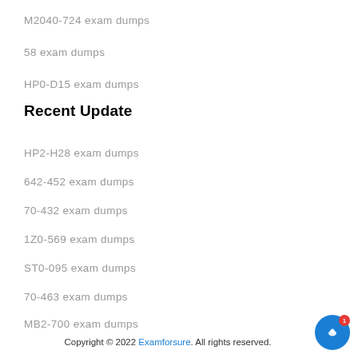M2040-724 exam dumps
58 exam dumps
HP0-D15 exam dumps
Recent Update
HP2-H28 exam dumps
642-452 exam dumps
70-432 exam dumps
1Z0-569 exam dumps
ST0-095 exam dumps
70-463 exam dumps
MB2-700 exam dumps
Copyright © 2022 Examforsure. All rights reserved.